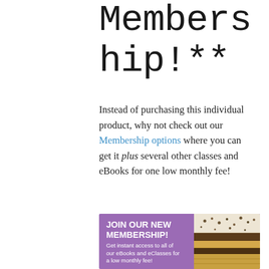Membership!**
Instead of purchasing this individual product, why not check out our Membership options where you can get it plus several other classes and eBooks for one low monthly fee!
[Figure (infographic): Banner advertisement reading 'JOIN OUR NEW MEMBERSHIP! Get instant access to all of our eBooks and eClasses for a low monthly fee!' with a purple background and an image of layered food (baklava/pastry) on the right side.]